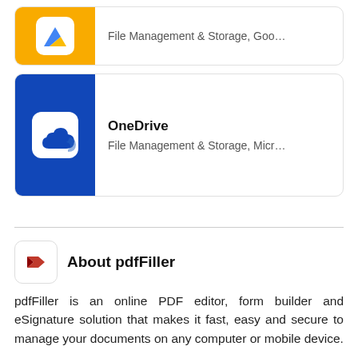[Figure (logo): Google Drive app icon on yellow background, partial view at top]
File Management & Storage, Goo…
[Figure (logo): OneDrive app icon on blue background with white cloud]
OneDrive
File Management & Storage, Micr…
About pdfFiller
pdfFiller is an online PDF editor, form builder and eSignature solution that makes it fast, easy and secure to manage your documents on any computer or mobile device.
Learn more